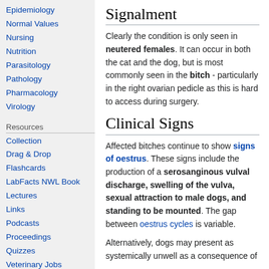Epidemiology
Normal Values
Nursing
Nutrition
Parasitology
Pathology
Pharmacology
Virology
Resources
Collection
Drag & Drop
Flashcards
LabFacts NWL Book
Lectures
Links
Podcasts
Proceedings
Quizzes
Veterinary Jobs
Videos
Development
Signalment
Clearly the condition is only seen in neutered females. It can occur in both the cat and the dog, but is most commonly seen in the bitch - particularly in the right ovarian pedicle as this is hard to access during surgery.
Clinical Signs
Affected bitches continue to show signs of oestrus. These signs include the production of a serosanginous vulval discharge, swelling of the vulva, sexual attraction to male dogs, and standing to be mounted. The gap between oestrus cycles is variable.
Alternatively, dogs may present as systemically unwell as a consequence of